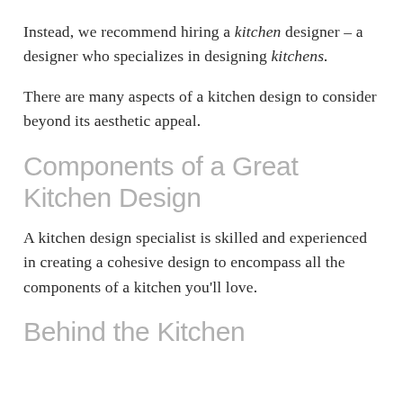Instead, we recommend hiring a kitchen designer – a designer who specializes in designing kitchens.
There are many aspects of a kitchen design to consider beyond its aesthetic appeal.
Components of a Great Kitchen Design
A kitchen design specialist is skilled and experienced in creating a cohesive design to encompass all the components of a kitchen you'll love.
Behind the Kitchen